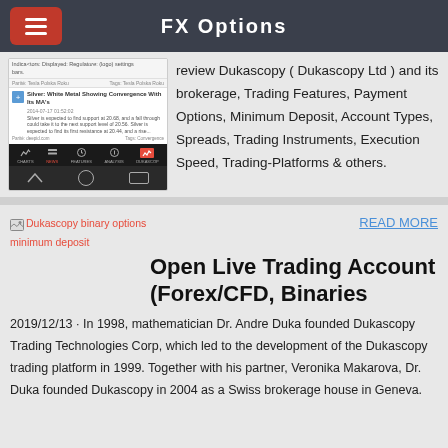FX Options
[Figure (screenshot): Mobile app screenshot showing a news article about Silver and navigation bar with CHARTS, NEWS, FEATURES, ANALYSIS, DUKASCOP tabs]
review Dukascopy ( Dukascopy Ltd ) and its brokerage, Trading Features, Payment Options, Minimum Deposit, Account Types, Spreads, Trading Instruments, Execution Speed, Trading-Platforms & others.
[Figure (other): Broken image icon labeled: Dukascopy binary options minimum deposit]
READ MORE
Open Live Trading Account (Forex/CFD, Binaries
2019/12/13 · In 1998, mathematician Dr. Andre Duka founded Dukascopy Trading Technologies Corp, which led to the development of the Dukascopy trading platform in 1999. Together with his partner, Veronika Makarova, Dr. Duka founded Dukascopy in 2004 as a Swiss brokerage house in Geneva.